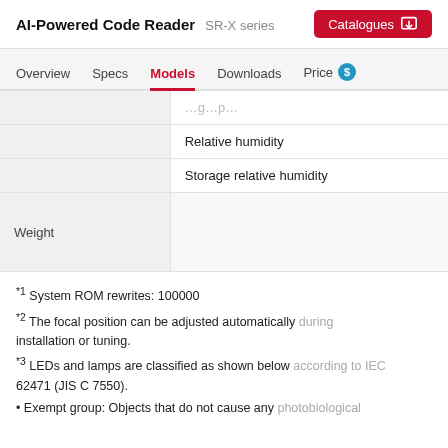AI-Powered Code Reader  SR-X series  Catalogues
Overview  Specs  Models  Downloads  Price
| Category | Spec |
| --- | --- |
|  | …g…p… |
|  | Relative humidity |
|  | Storage relative humidity |
| Weight |  |
*1 System ROM rewrites: 100000
*2 The focal position can be adjusted automatically during installation or tuning.
*3 LEDs and lamps are classified as shown below according to IEC 62471 (JIS C 7550).
• Exempt group: Objects that do not cause any photobiological…